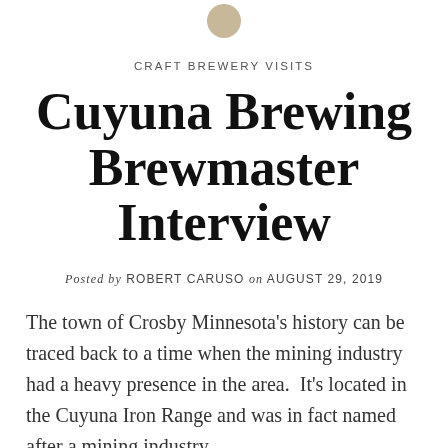[Figure (logo): Small circular logo/icon at top center]
CRAFT BREWERY VISITS
Cuyuna Brewing Brewmaster Interview
Posted by ROBERT CARUSO on AUGUST 29, 2019
The town of Crosby Minnesota's history can be traced back to a time when the mining industry had a heavy presence in the area.  It's located in the Cuyuna Iron Range and was in fact named after a mining industry